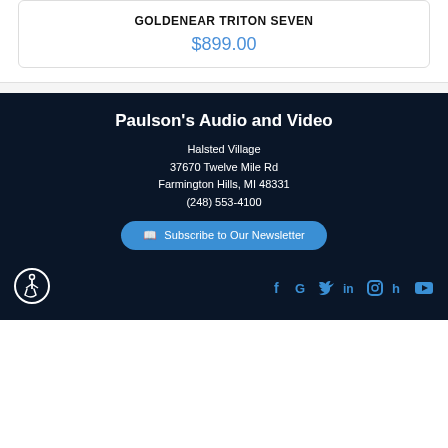GOLDENEAR TRITON SEVEN
$899.00
Paulson's Audio and Video
Halsted Village
37670 Twelve Mile Rd
Farmington Hills, MI 48331
(248) 553-4100
Subscribe to Our Newsletter
[Figure (logo): Accessibility icon — wheelchair user in circle]
[Figure (infographic): Social media icons: Facebook, Google, Twitter, LinkedIn, Instagram, Houzz, YouTube — in blue]